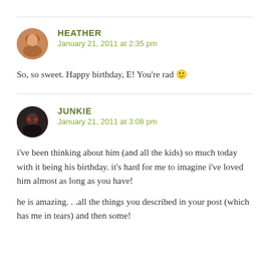HEATHER
January 21, 2011 at 2:35 pm
So, so sweet. Happy birthday, E! You're rad 🙂
JUNKIE
January 21, 2011 at 3:08 pm
i've been thinking about him (and all the kids) so much today with it being his birthday. it's hard for me to imagine i've loved him almost as long as you have!

he is amazing. . .all the things you described in your post (which has me in tears) and then some!